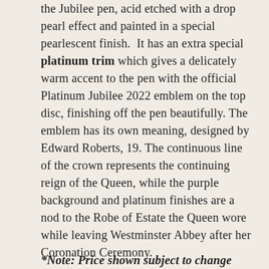the Jubilee pen, acid etched with a drop pearl effect and painted in a special pearlescent finish.  It has an extra special platinum trim which gives a delicately warm accent to the pen with the official Platinum Jubilee 2022 emblem on the top disc, finishing off the pen beautifully. The emblem has its own meaning, designed by Edward Roberts, 19. The continuous line of the crown represents the continuing reign of the Queen, while the purple background and platinum finishes are a nod to the Robe of Estate the Queen wore while leaving Westminster Abbey after her Coronation Ceremony.
*Note: Price shown subject to change